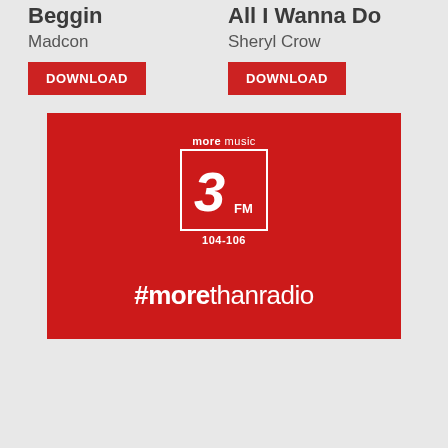Beggin
Madcon
All I Wanna Do
Sheryl Crow
DOWNLOAD
DOWNLOAD
[Figure (logo): 3FM more music radio logo with #morethanradio tagline on red background. Shows 'more music' text above a square box containing a stylized '3' and 'FM' text, with '104-106' frequency below, and '#morethanradio' at the bottom.]